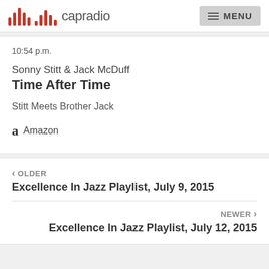capradio  MENU
10:54 p.m.
Sonny Stitt & Jack McDuff
Time After Time
Stitt Meets Brother Jack
Amazon
< OLDER
Excellence In Jazz Playlist, July 9, 2015
NEWER >
Excellence In Jazz Playlist, July 12, 2015